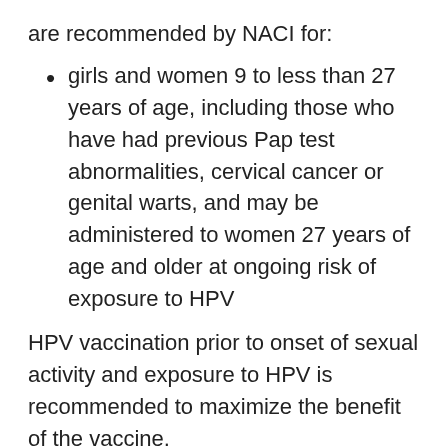are recommended by NACI for:
girls and women 9 to less than 27 years of age, including those who have had previous Pap test abnormalities, cervical cancer or genital warts, and may be administered to women 27 years of age and older at ongoing risk of exposure to HPV
HPV vaccination prior to onset of sexual activity and exposure to HPV is recommended to maximize the benefit of the vaccine.
Currently, HPV vaccines Gardasil® and